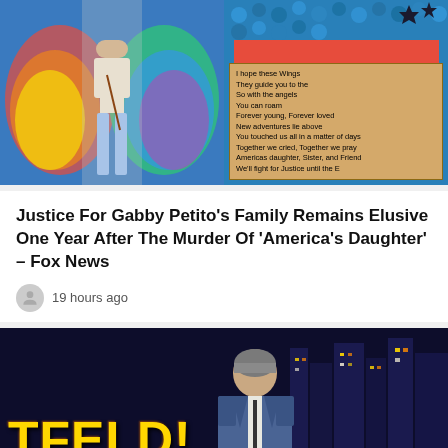[Figure (photo): Two photos side by side: left shows a woman standing in front of colorful angel wings mural; right shows a handwritten poem on paper with blue bubble background]
Justice For Gabby Petito's Family Remains Elusive One Year After The Murder Of 'America's Daughter' – Fox News
19 hours ago
[Figure (photo): TV show host sitting at desk with 'TFELD!' text in gold letters on the lower left, city skyline background with lights]